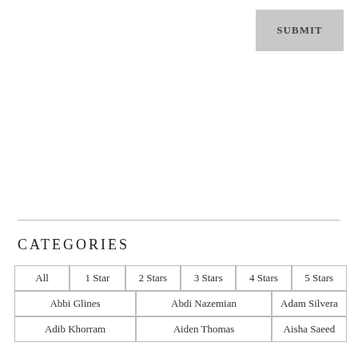SUBMIT
CATEGORIES
| All | 1 Star | 2 Stars | 3 Stars | 4 Stars | 5 Stars |
| Abbi Glines | Abdi Nazemian | Adam Silvera |
| Adib Khorram | Aiden Thomas | Aisha Saeed |